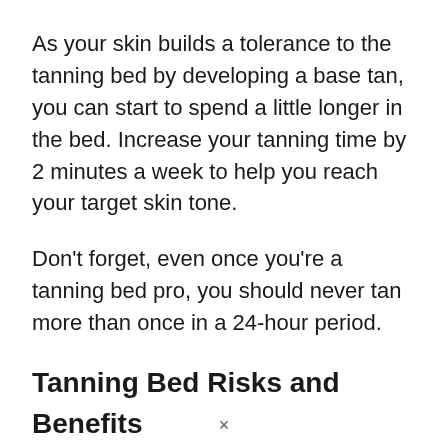As your skin builds a tolerance to the tanning bed by developing a base tan, you can start to spend a little longer in the bed. Increase your tanning time by 2 minutes a week to help you reach your target skin tone.
Don't forget, even once you're a tanning bed pro, you should never tan more than once in a 24-hour period.
Tanning Bed Risks and Benefits
There is a great deal of debate as to whether
×